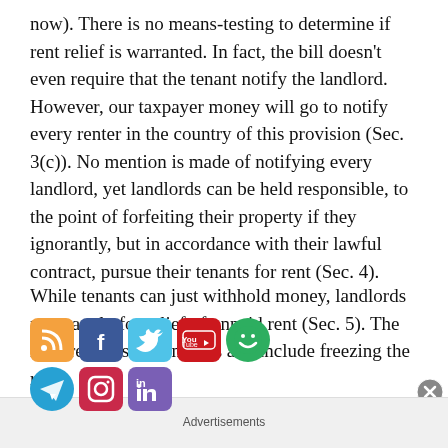now). There is no means-testing to determine if rent relief is warranted. In fact, the bill doesn't even require that the tenant notify the landlord. However, our taxpayer money will go to notify every renter in the country of this provision (Sec. 3(c)). No mention is made of notifying every landlord, yet landlords can be held responsible, to the point of forfeiting their property if they ignorantly, but in accordance with their lawful contract, pursue their tenants for rent (Sec. 4).
[Figure (infographic): Social media sharing icons: RSS (orange), Facebook (blue), Twitter (light blue), YouTube (red), Google+ (green), Telegram (blue), Instagram (red), LinkedIn (purple)]
While tenants can just withhold money, landlords must apply for relief of unpaid rent (Sec. 5). The requirements are onerous and include freezing the rent
Advertisements